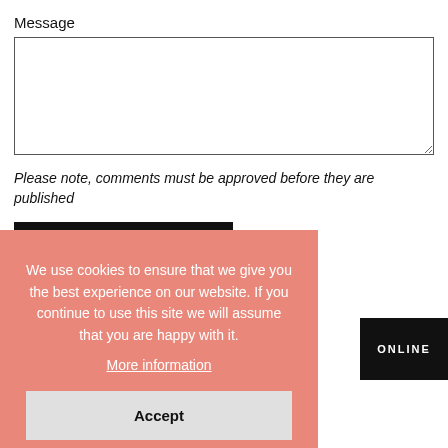Message
[Figure (screenshot): Message textarea input field, empty, with resizable handle at bottom-right]
Please note, comments must be approved before they are published
POST COMMENT
We use cookies to ensure that we give you the best experience on our website. If you continue to use this site we will assume that you are happy with it. More information Accept
ONLINE